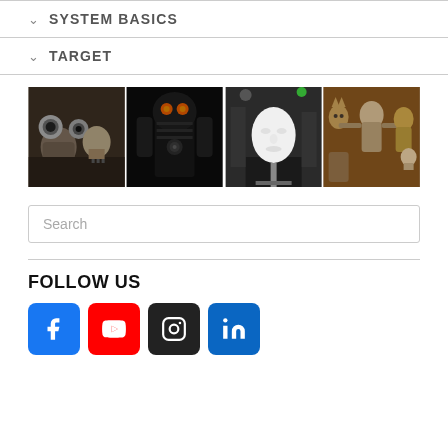SYSTEM BASICS
TARGET
[Figure (photo): A strip of four photos showing various robotic figures and animatronic heads/characters. From left to right: mechanical robot with camera eyes, a dark elaborate robot with glowing eyes, a white human face mannequin head on a stand, and a group of various puppets and robotic figures.]
Search
FOLLOW US